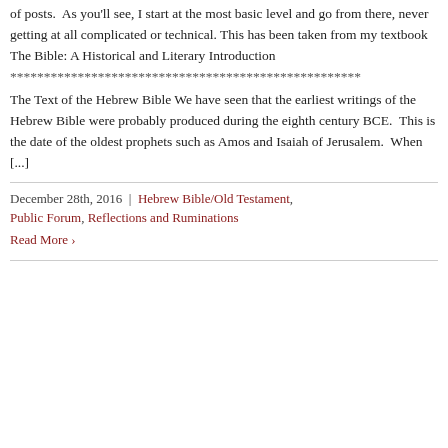of posts.  As you'll see, I start at the most basic level and go from there, never getting at all complicated or technical. This has been taken from my textbook The Bible: A Historical and Literary Introduction
***************************************************
The Text of the Hebrew Bible We have seen that the earliest writings of the Hebrew Bible were probably produced during the eighth century BCE.  This is the date of the oldest prophets such as Amos and Isaiah of Jerusalem.  When [...]
December 28th, 2016  |  Hebrew Bible/Old Testament, Public Forum, Reflections and Ruminations
Read More ›